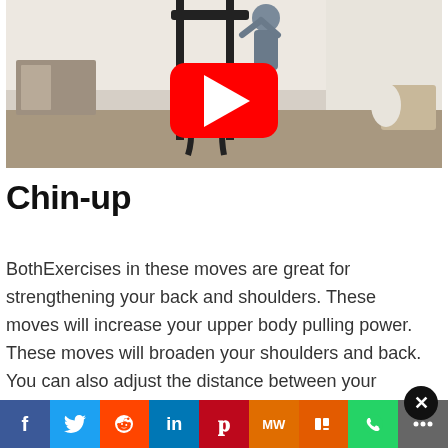[Figure (screenshot): YouTube video thumbnail showing a person doing a chin-up on a power tower in a home gym setting. A red YouTube play button is overlaid in the center.]
Chin-up
BothExercises in these moves are great for strengthening your back and shoulders. These moves will increase your upper body pulling power. These moves will broaden your shoulders and back. You can also adjust the distance between your fingers to make it more effective. You can "attack" mu...